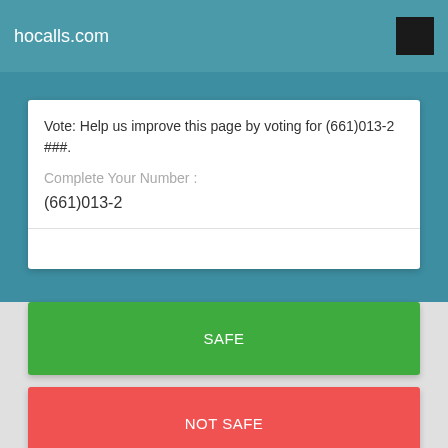hocalls.com
Vote: Help us improve this page by voting for (661)013-2 ###.
Complete Your Number :
(661)013-2
SAFE
NOT SAFE